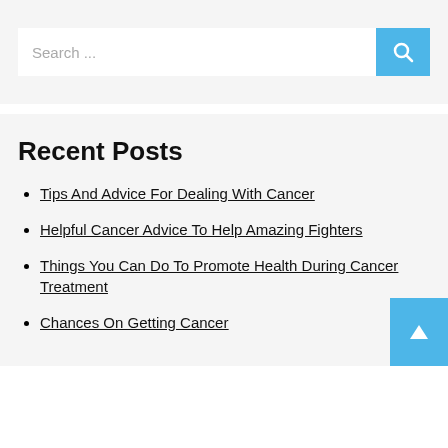[Figure (screenshot): Search bar widget with text 'Search ...' and a blue search button with magnifying glass icon]
Recent Posts
Tips And Advice For Dealing With Cancer
Helpful Cancer Advice To Help Amazing Fighters
Things You Can Do To Promote Health During Cancer Treatment
Chances On Getting Cancer